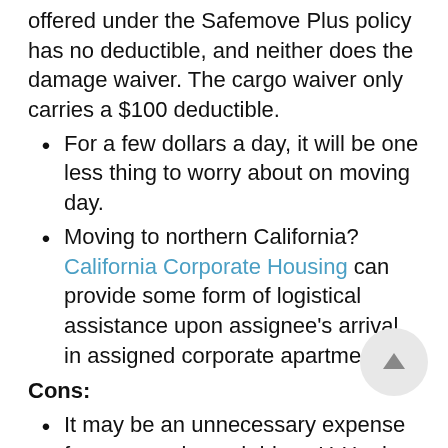The supplemental liability insurance offered under the Safemove Plus policy has no deductible, and neither does the damage waiver. The cargo waiver only carries a $100 deductible.
For a few dollars a day, it will be one less thing to worry about on moving day.
Moving to northern California? California Corporate Housing can provide some form of logistical assistance upon assignee's arrival in assigned corporate apartment.
Cons:
It may be an unnecessary expense for an experienced driver. U-Haul insurance generally costs from $14 to